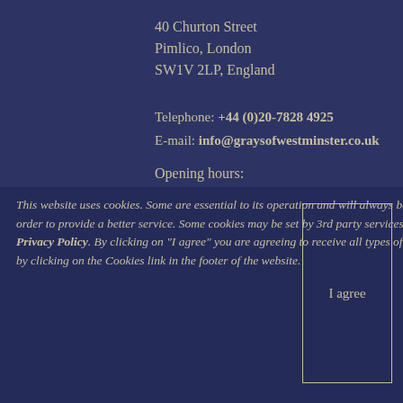40 Churton Street
Pimlico, London
SW1V 2LP, England
Telephone: +44 (0)20-7828 4925
E-mail: info@graysofwestminster.co.uk
Opening hours:
This website uses cookies. Some are essential to its operation and will always be set. Others help us to learn how people interact with our site in order to provide a better service. Some cookies may be set by 3rd party services such as Google Analytics. You can find out more by viewing our Privacy Policy. By clicking on "I agree" you are agreeing to receive all types of cookie used on this site. You can change your choice at any time by clicking on the Cookies link in the footer of the website.
I agree